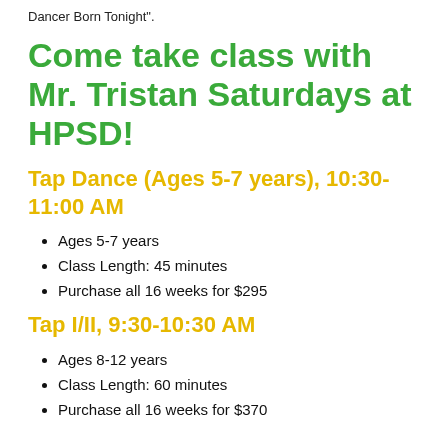Dancer Born Tonight".
Come take class with Mr. Tristan Saturdays at HPSD!
Tap Dance (Ages 5-7 years), 10:30-11:00 AM
Ages 5-7 years
Class Length: 45 minutes
Purchase all 16 weeks for $295
Tap I/II, 9:30-10:30 AM
Ages 8-12 years
Class Length: 60 minutes
Purchase all 16 weeks for $370